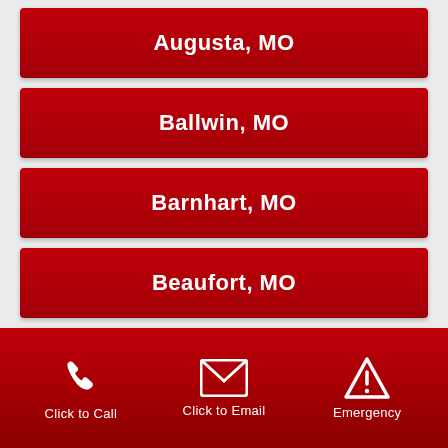Augusta, MO
Ballwin, MO
Barnhart, MO
Beaufort, MO
Bella Villa, MO
Click to Call  Click to Email  Emergency